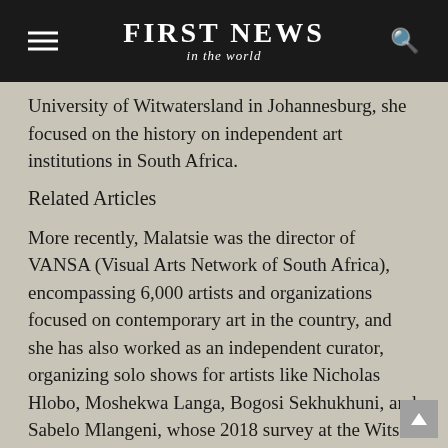FIRST NEWS in the world
University of Witwatersland in Johannesburg, she focused on the history on independent art institutions in South Africa.
Related Articles
More recently, Malatsie was the director of VANSA (Visual Arts Network of South Africa), encompassing 6,000 artists and organizations focused on contemporary art in the country, and she has also worked as an independent curator, organizing solo shows for artists like Nicholas Hlobo, Moshekwa Langa, Bogosi Sekhukhuni, and Sabelo Mlangeni, whose 2018 survey at the Wits Art Museum in Johannesburg received acclaim. Other curatorial credits include the 2018